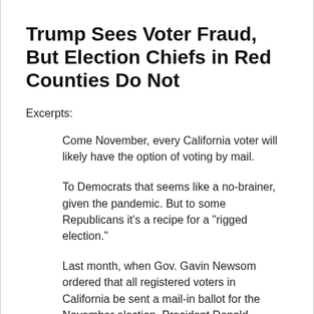Trump Sees Voter Fraud, But Election Chiefs in Red Counties Do Not
Excerpts:
Come November, every California voter will likely have the option of voting by mail.
To Democrats that seems like a no-brainer, given the pandemic. But to some Republicans it's a recipe for a "rigged election."
Last month, when Gov. Gavin Newsom ordered that all registered voters in California be sent a mail-in ballot for the November election, President Donald Trump was immediately tweeting — and questioning the validity of that